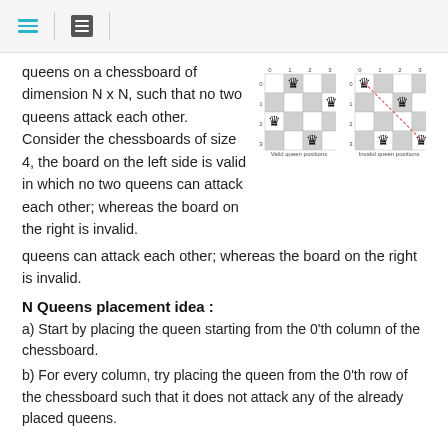[hamburger menu] [list icon]
queens on a chessboard of dimension N x N, such that no two queens attack each other. Consider the chessboards of size 4, the board on the left side is valid in which no two queens can attack each other; whereas the board on the right is invalid.
[Figure (illustration): Two 4x4 chessboards side by side. Left board labeled 'Valid queen positions' shows queens placed at (0,1), (1,3), (2,0), (3,2) with no attacks. Right board labeled 'Invalid queen positions' shows queens with a dashed diagonal line indicating an attack.]
N Queens placement idea :
a) Start by placing the queen starting from the 0'th column of the chessboard.
b) For every column, try placing the queen from the 0'th row of the chessboard such that it does not attack any of the already placed queens.